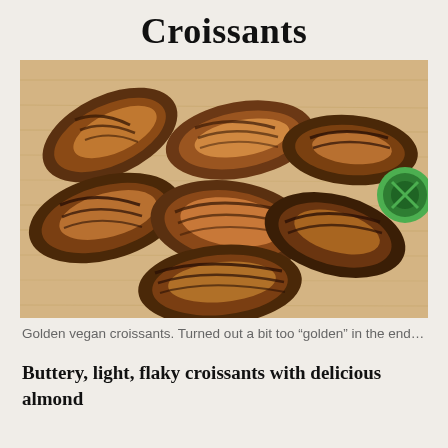Croissants
[Figure (photo): Several golden-brown vegan croissants arranged on a wooden cutting board, with a green circular object visible at the right edge. The croissants appear deeply browned with flaky layered textures.]
Golden vegan croissants. Turned out a bit too “golden” in the end…
Buttery, light, flaky croissants with delicious almond